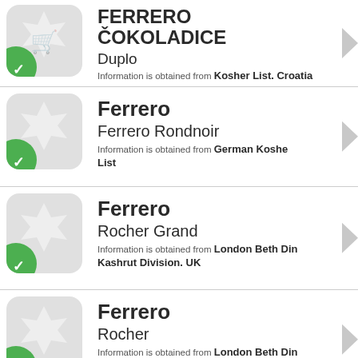FERRERO ČOKOLADICE
Duplo
Information is obtained from Kosher List. Croatia
Ferrero
Ferrero Rondnoir
Information is obtained from German Koshe List
Ferrero
Rocher Grand
Information is obtained from London Beth Din Kashrut Division. UK
Ferrero
Rocher
Information is obtained from London Beth Din Kashrut Division. UK